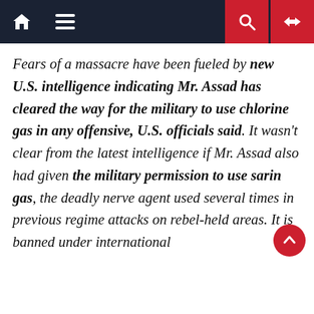Navigation bar with home, menu, search, and shuffle icons
Fears of a massacre have been fueled by new U.S. intelligence indicating Mr. Assad has cleared the way for the military to use chlorine gas in any offensive, U.S. officials said. It wasn't clear from the latest intelligence if Mr. Assad also had given the military permission to use sarin gas, the deadly nerve agent used several times in previous regime attacks on rebel-held areas. It is banned under international